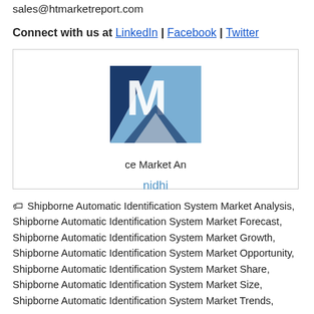sales@htmarketreport.com
Connect with us at LinkedIn | Facebook | Twitter
[Figure (logo): Market Analysis company logo with 'M' monogram in blue and navy, partially visible, with tagline 'ce Market An' and author name 'nidhi' below]
Shipborne Automatic Identification System Market Analysis, Shipborne Automatic Identification System Market Forecast, Shipborne Automatic Identification System Market Growth, Shipborne Automatic Identification System Market Opportunity, Shipborne Automatic Identification System Market Share, Shipborne Automatic Identification System Market Size, Shipborne Automatic Identification System Market Trends,